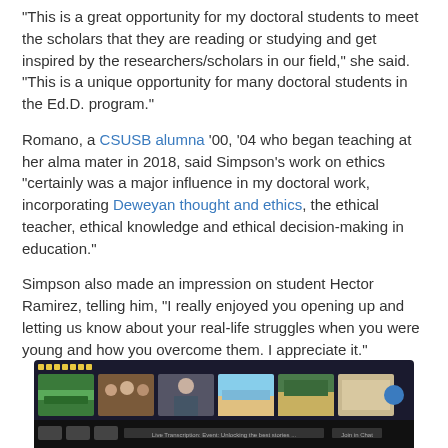“This is a great opportunity for my doctoral students to meet the scholars that they are reading or studying and get inspired by the researchers/scholars in our field,” she said. “This is a unique opportunity for many doctoral students in the Ed.D. program.”
Romano, a CSUSB alumna ’00, ’04 who began teaching at her alma mater in 2018, said Simpson’s work on ethics “certainly was a major influence in my doctoral work, incorporating Deweyan thought and ethics, the ethical teacher, ethical knowledge and ethical decision-making in education.”
Simpson also made an impression on student Hector Ramirez, telling him, “I really enjoyed you opening up and letting us know about your real-life struggles when you were young and how you overcome them. I appreciate it.”
[Figure (screenshot): Screenshot of a Zoom video call showing multiple participant thumbnails in a dark interface bar at the bottom of the page.]